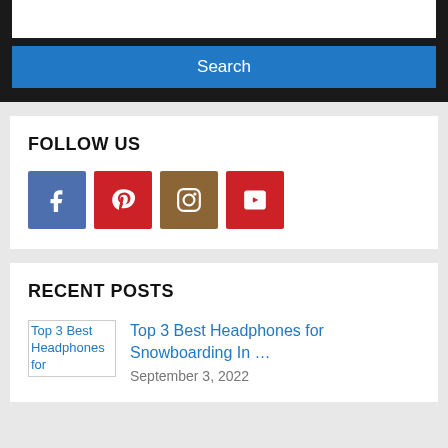[Figure (screenshot): Search widget with white input box and blue Search button on dark background]
FOLLOW US
[Figure (infographic): Social media icons: Facebook (blue), Pinterest (red), Instagram (brown), YouTube (red)]
RECENT POSTS
[Figure (screenshot): Broken image placeholder for Top 3 Best Headphones for Snowboarding article thumbnail]
Top 3 Best Headphones for Snowboarding In …
September 3, 2022